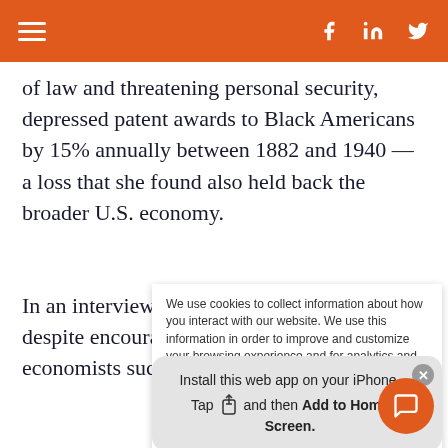≡  f  in  🐦
of law and threatening personal security, depressed patent awards to Black Americans by 15% annually between 1882 and 1940 — a loss that she found also held back the broader U.S. economy.
In an interview in October, Cook said that despite encouragement from prominent economists such as
We use cookies to collect information about how you interact with our website. We use this information in order to improve and customize your browsing experience and for analytics and metrics about our visitors both on this website and other media. To find out more about the cookies we use, see our Privacy Policy.

If you decline, your information won't be tracked
Install this web app on your iPhone. Tap  and then Add to Home Screen.